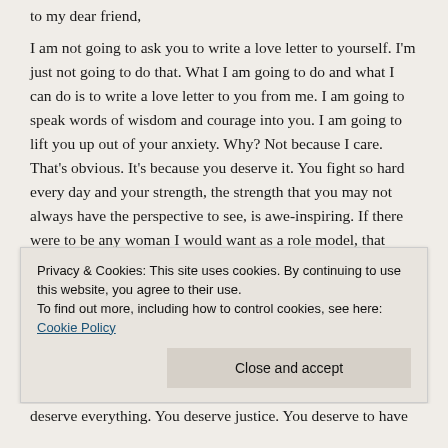to my dear friend,
I am not going to ask you to write a love letter to yourself. I'm just not going to do that. What I am going to do and what I can do is to write a love letter to you from me. I am going to speak words of wisdom and courage into you. I am going to lift you up out of your anxiety. Why? Not because I care. That's obvious. It's because you deserve it. You fight so hard every day and your strength, the strength that you may not always have the perspective to see, is awe-inspiring. If there were to be any woman I would want as a role model, that would be you. Because guess what, we are not perfect. No one is. And sometimes we fuck up. But when justice comes into play, you don't have to cognitively admit to yourself that you are right. You know it in your heart and your body knows it for you. That's why somatic issues creep up and tears emerge and
Privacy & Cookies: This site uses cookies. By continuing to use this website, you agree to their use.
To find out more, including how to control cookies, see here: Cookie Policy
Close and accept
deserve everything. You deserve justice. You deserve to have